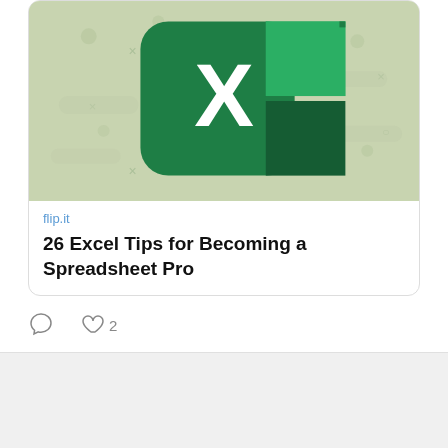[Figure (screenshot): Microsoft Excel logo on a light green background]
flip.it
26 Excel Tips for Becoming a Spreadsheet Pro
[Figure (screenshot): NCCE tweet: How to Annotate PDF Documents in Windows 11, buff.ly/3A5jqus, with Twitter bird icon, @N... handle, 11h ago]
[Figure (screenshot): Social media share buttons bar: Facebook, Twitter, Reddit, LinkedIn, Pinterest, MeWe, Mix, WhatsApp, More]